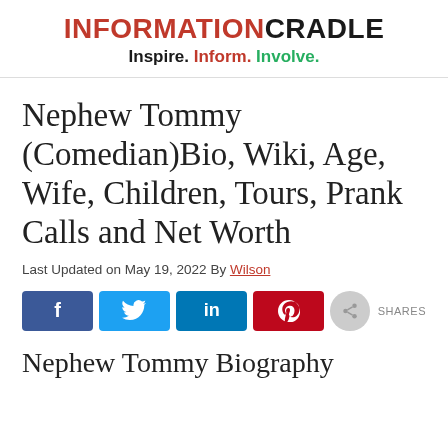INFORMATIONCRADLE — Inspire. Inform. Involve.
Nephew Tommy (Comedian)Bio, Wiki, Age, Wife, Children, Tours, Prank Calls and Net Worth
Last Updated on May 19, 2022 By Wilson
[Figure (infographic): Social sharing buttons: Facebook (blue), Twitter (light blue), LinkedIn (dark blue), Pinterest (red), share icon (grey), SHARES label]
Nephew Tommy Biography